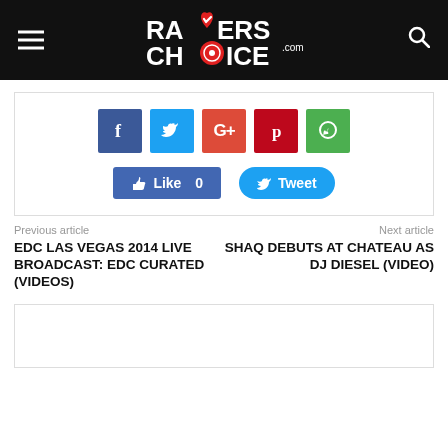RAVERS CHOICE .com
[Figure (infographic): Social media share buttons: Facebook, Twitter, Google+, Pinterest, WhatsApp, Like 0, Tweet]
Previous article
EDC LAS VEGAS 2014 LIVE BROADCAST: EDC CURATED (VIDEOS)
Next article
SHAQ DEBUTS AT CHATEAU AS DJ DIESEL (VIDEO)